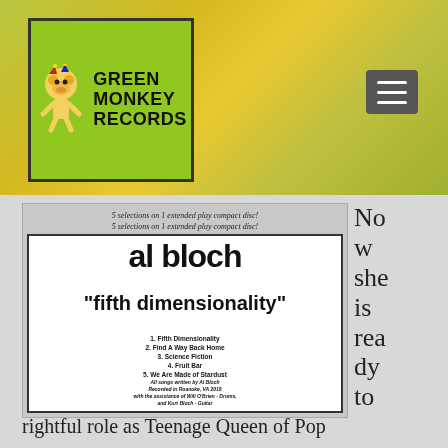[Figure (logo): Green Monkey Records logo - green background with monkey jester illustration and bold text]
[Figure (photo): Album cover for al bloch 'fifth dimensionality' EP - black and white with track listing]
Now she is ready to assume her
rightful role as Teenage Queen of Pop